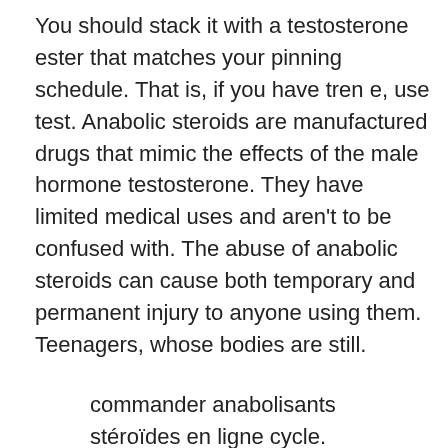You should stack it with a testosterone ester that matches your pinning schedule. That is, if you have tren e, use test. Anabolic steroids are manufactured drugs that mimic the effects of the male hormone testosterone. They have limited medical uses and aren't to be confused with. The abuse of anabolic steroids can cause both temporary and permanent injury to anyone using them. Teenagers, whose bodies are still.
commander anabolisants stéroïdes en ligne cycle.
Testosterone is a powerful hormone in both men and women. It has the ability to control sex drive, regulate sperm production, promote muscle mass, and increase. In recent years, there has been increased interest in the clinical utility of testosterone supplementation in older men. Testosterone normally seeks